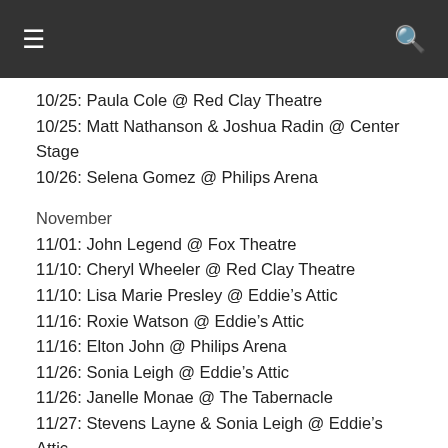≡  🔍
10/25: Paula Cole @ Red Clay Theatre
10/25: Matt Nathanson & Joshua Radin @ Center Stage
10/26: Selena Gomez @ Philips Arena
November
11/01: John Legend @ Fox Theatre
11/10: Cheryl Wheeler @ Red Clay Theatre
11/10: Lisa Marie Presley @ Eddie's Attic
11/16: Roxie Watson @ Eddie's Attic
11/16: Elton John @ Philips Arena
11/26: Sonia Leigh @ Eddie's Attic
11/26: Janelle Monae @ The Tabernacle
11/27: Stevens Layne & Sonia Leigh @ Eddie's Attic
11/30: Shawn Mullins @ Variety Playhouse
11/30: Caroline Aiken, Michelle Malone, Dede Vogt & Janet McLaughlin @ Red Clay Theatre
December